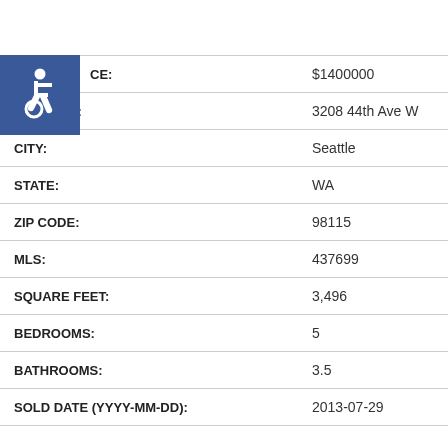[Figure (logo): Blue square with white wheelchair accessibility icon]
| PRICE: | $1400000 |
| ADDRESS: | 3208 44th Ave W |
| CITY: | Seattle |
| STATE: | WA |
| ZIP CODE: | 98115 |
| MLS: | 437699 |
| SQUARE FEET: | 3,496 |
| BEDROOMS: | 5 |
| BATHROOMS: | 3.5 |
| SOLD DATE (YYYY-MM-DD): | 2013-07-29 |